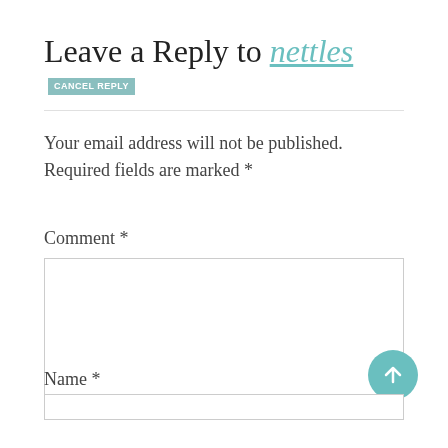Leave a Reply to nettles CANCEL REPLY
Your email address will not be published. Required fields are marked *
Comment *
[Figure (other): Empty comment textarea input box]
Name *
[Figure (other): Empty name text input box]
[Figure (other): Teal circular scroll-to-top button with upward arrow]